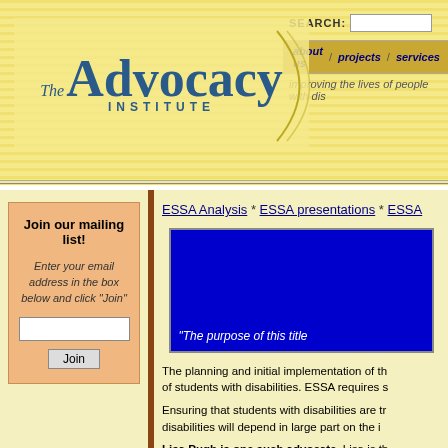The Advocacy Institute — improving the lives of people with disabilities
ESSA Analysis * ESSA presentations * ESSA
[Figure (screenshot): Blue presentation slide with white italic text: "The purpose of this title..."]
The planning and initial implementation of the... of students with disabilities. ESSA requires s...
Ensuring that students with disabilities are tr... disabilities will depend in large part on the i...
Lisa Pugh is one such advocate. Lisa is th... stakeholders that will work on the state's ESS...